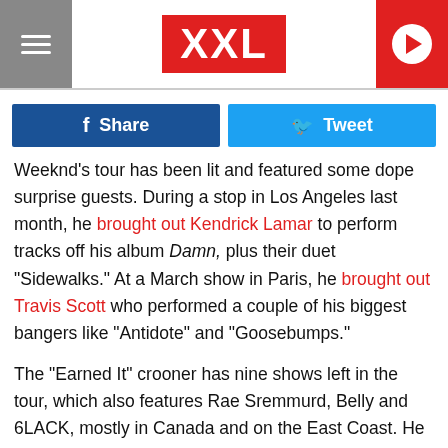XXL
[Figure (infographic): Social share buttons: Facebook Share (blue) and Tweet (light blue)]
Weeknd's tour has been lit and featured some dope surprise guests. During a stop in Los Angeles last month, he brought out Kendrick Lamar to perform tracks off his album Damn, plus their duet "Sidewalks." At a March show in Paris, he brought out Travis Scott who performed a couple of his biggest bangers like “Antidote” and “Goosebumps.”
The "Earned It" crooner has nine shows left in the tour, which also features Rae Sremmurd, Belly and 6LACK, mostly in Canada and on the East Coast. He performs tonight (May 28) in Ottawa, ON.
Check out Weeknd's remaining tour dates and footage of him